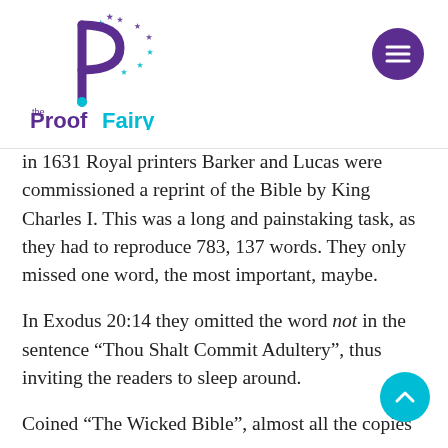[Figure (logo): The Proof Fairy logo — a purple stylized letter P with a wand and stars, teal text 'the ProofFairy' with tagline 'working magic with words']
In 1631 Royal printers Barker and Lucas were commissioned a reprint of the Bible by King Charles I. This was a long and painstaking task, as they had to reproduce 783, 137 words. They only missed one word, the most important, maybe.
In Exodus 20:14 they omitted the word not in the sentence “Thou Shalt Commit Adultery”, thus inviting the readers to sleep around.
Coined “The Wicked Bible”, almost all the copies